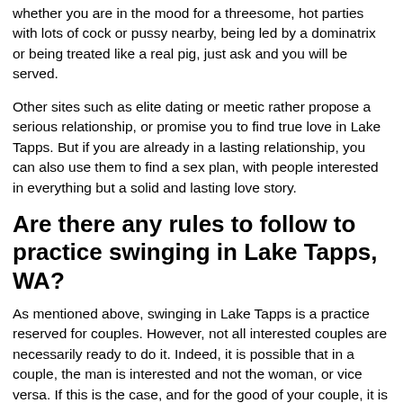whether you are in the mood for a threesome, hot parties with lots of cock or pussy nearby, being led by a dominatrix or being treated like a real pig, just ask and you will be served.
Other sites such as elite dating or meetic rather propose a serious relationship, or promise you to find true love in Lake Tapps. But if you are already in a lasting relationship, you can also use them to find a sex plan, with people interested in everything but a solid and lasting love story.
Are there any rules to follow to practice swinging in Lake Tapps, WA?
As mentioned above, swinging in Lake Tapps is a practice reserved for couples. However, not all interested couples are necessarily ready to do it. Indeed, it is possible that in a couple, the man is interested and not the woman, or vice versa. If this is the case, and for the good of your couple, it is better to discuss it at length to ensure that you are indeed on the same wavelength. There is no point in rushing and frustrating the other's feelings, because the purpose of swinging is to have fun together. These experiences should not drive you apart, but on the contrary, they